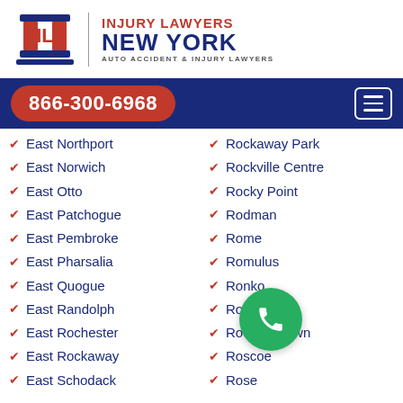[Figure (logo): Injury Lawyers New York logo with IL column icon, red and navy text, tagline AUTO ACCIDENT & INJURY LAWYERS]
866-300-6968
East Northport
Rockaway Park
East Norwich
Rockville Centre
East Otto
Rocky Point
East Patchogue
Rodman
East Pembroke
Rome
East Pharsalia
Romulus
East Quogue
Ronkonkoma
East Randolph
Roosevelt
East Rochester
Rooseveltown
East Rockaway
Roscoe
East Schodack
Rose